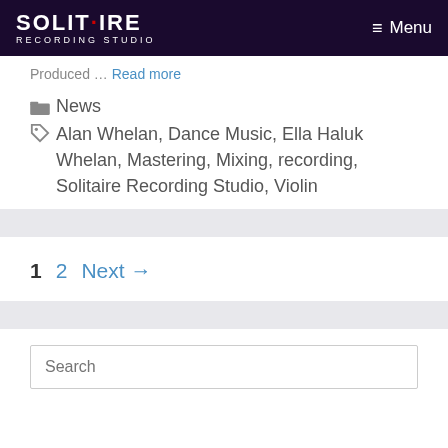SOLITAIRE RECORDING STUDIO  ≡ Menu
Produced ... Read more
News
Alan Whelan, Dance Music, Ella Haluk Whelan, Mastering, Mixing, recording, Solitaire Recording Studio, Violin
1  2  Next →
Search